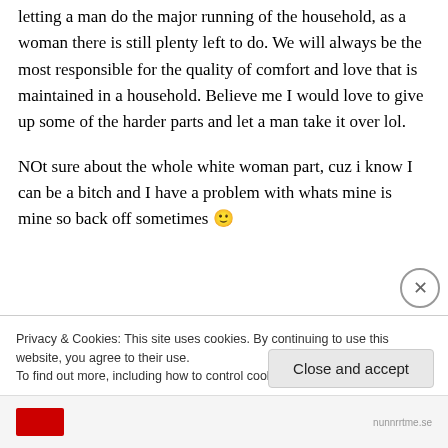letting a man do the major running of the household, as a woman there is still plenty left to do. We will always be the most responsible for the quality of comfort and love that is maintained in a household. Believe me I would love to give up some of the harder parts and let a man take it over lol.

NOt sure about the whole white woman part, cuz i know I can be a bitch and I have a problem with whats mine is mine so back off sometimes 🙂
Privacy & Cookies: This site uses cookies. By continuing to use this website, you agree to their use.
To find out more, including how to control cookies, see here: Cookie Policy
Close and accept